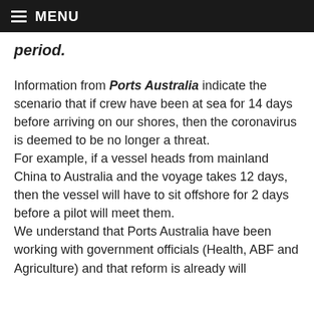MENU
period.
Information from Ports Australia indicate the scenario that if crew have been at sea for 14 days before arriving on our shores, then the coronavirus is deemed to be no longer a threat.
For example, if a vessel heads from mainland China to Australia and the voyage takes 12 days, then the vessel will have to sit offshore for 2 days before a pilot will meet them.
We understand that Ports Australia have been working with government officials (Health, ABF and Agriculture) and that reform is already will